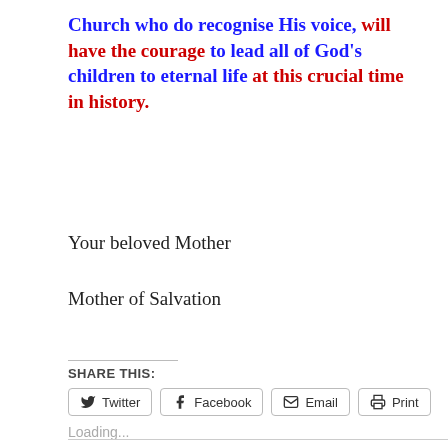Church who do recognise His voice, will have the courage to lead all of God's children to eternal life at this crucial time in history.
Your beloved Mother
Mother of Salvation
SHARE THIS:
Loading...